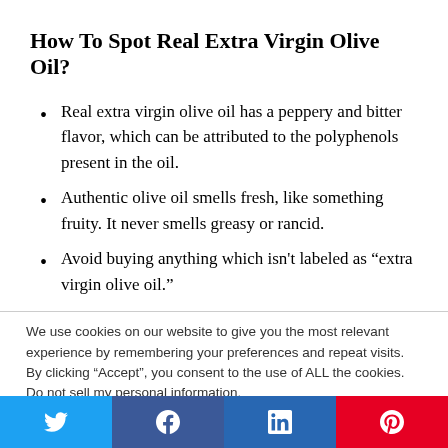How To Spot Real Extra Virgin Olive Oil?
Real extra virgin olive oil has a peppery and bitter flavor, which can be attributed to the polyphenols present in the oil.
Authentic olive oil smells fresh, like something fruity. It never smells greasy or rancid.
Avoid buying anything which isn't labeled as “extra virgin olive oil.”
We use cookies on our website to give you the most relevant experience by remembering your preferences and repeat visits. By clicking “Accept”, you consent to the use of ALL the cookies. Do not sell my personal information.